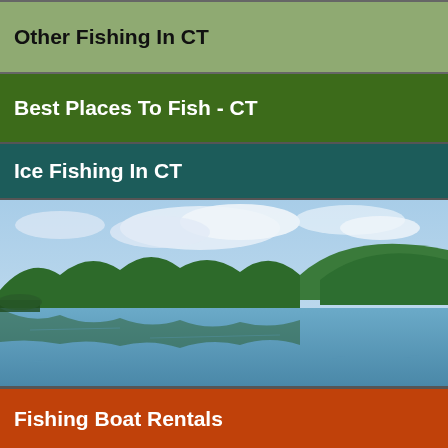Other Fishing In CT
Best Places To Fish - CT
Ice Fishing In CT
[Figure (photo): A scenic Connecticut lake or reservoir surrounded by forested hills, with their reflections visible in the calm water. The sky has clouds and the trees are lush green.]
Fishing Boat Rentals
Top CT Fishing Lakes